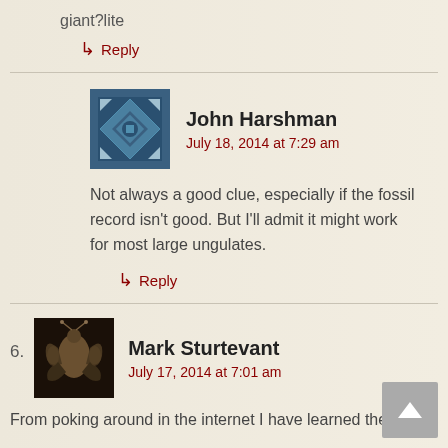giant?lite
↳ Reply
John Harshman
July 18, 2014 at 7:29 am
Not always a good clue, especially if the fossil record isn't good. But I'll admit it might work for most large ungulates.
↳ Reply
6.
Mark Sturtevant
July 17, 2014 at 7:01 am
From poking around in the internet I have learned there are